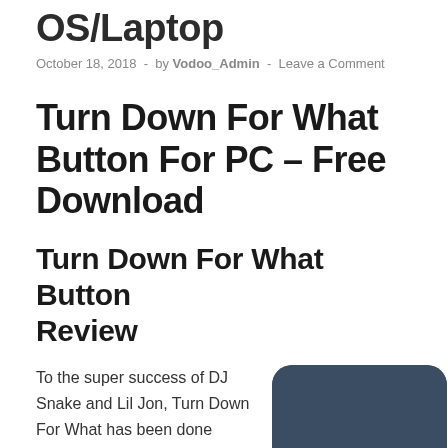OS/Laptop
October 18, 2018 - by Vodoo_Admin - Leave a Comment
Turn Down For What Button For PC – Free Download
Turn Down For What Button Review
To the super success of DJ Snake and Lil Jon, Turn Down For What has been done justice. And it has been
[Figure (illustration): App icon for TDFW (Turn Down For What) app, dark blue rounded rectangle with a grey circle containing TDFW text]